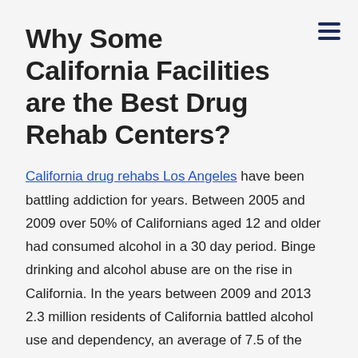Why Some California Facilities are the Best Drug Rehab Centers?
California drug rehabs Los Angeles have been battling addiction for years. Between 2005 and 2009 over 50% of Californians aged 12 and older had consumed alcohol in a 30 day period. Binge drinking and alcohol abuse are on the rise in California. In the years between 2009 and 2013 2.3 million residents of California battled alcohol use and dependency, an average of 7.5 of the population above 12 years of age. Alcohol abuse is thought to have cost the state $32 billion a year.